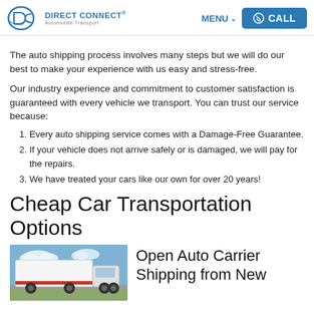DIRECT CONNECT® Automobile Transport | MENU | CALL
The auto shipping process involves many steps but we will do our best to make your experience with us easy and stress-free.
Our industry experience and commitment to customer satisfaction is guaranteed with every vehicle we transport. You can trust our service because:
1. Every auto shipping service comes with a Damage-Free Guarantee.
2. If your vehicle does not arrive safely or is damaged, we will pay for the repairs.
3. We have treated your cars like our own for over 20 years!
Cheap Car Transportation Options
[Figure (photo): A white and red auto transport truck/carrier on a highway with blue sky background]
Open Auto Carrier Shipping from New